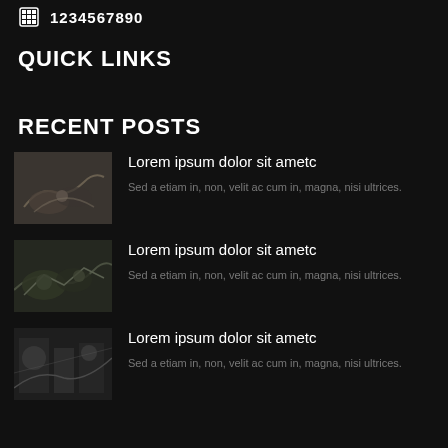1234567890
QUICK LINKS
RECENT POSTS
Lorem ipsum dolor sit ametc
Sed a etiam in, non, velit ac cum in, magna, nisi ultrices.
Lorem ipsum dolor sit ametc
Sed a etiam in, non, velit ac cum in, magna, nisi ultrices.
Lorem ipsum dolor sit ametc
Sed a etiam in, non, velit ac cum in, magna, nisi ultrices.